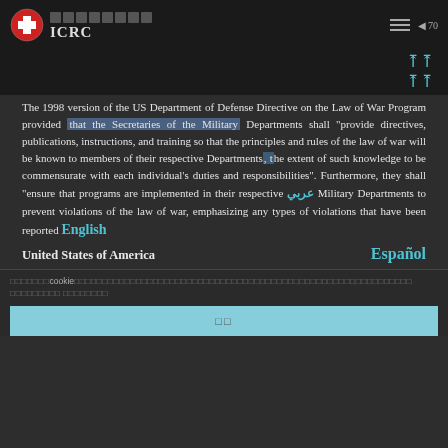ICRC
The 1998 version of the US Department of Defense Directive on the Law of War Program provided that the Secretaries of the Military Departments shall "provide directives, publications, instructions, and training so that the principles and rules of the law of war will be known to members of their respective Departments, the extent of such knowledge to be commensurate with each individual's duties and responsibilities". Furthermore, they shall "ensure that programs are implemented in their respective Military Departments to prevent violations of the law of war, emphasizing any types of violations that have been reported
United States of America
cookie
OK